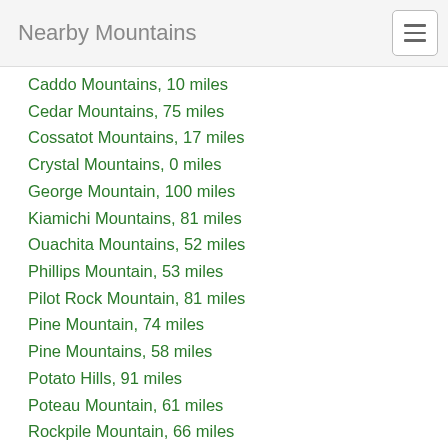Nearby Mountains
Caddo Mountains, 10 miles
Cedar Mountains, 75 miles
Cossatot Mountains, 17 miles
Crystal Mountains, 0 miles
George Mountain, 100 miles
Kiamichi Mountains, 81 miles
Ouachita Mountains, 52 miles
Phillips Mountain, 53 miles
Pilot Rock Mountain, 81 miles
Pine Mountain, 74 miles
Pine Mountains, 58 miles
Potato Hills, 91 miles
Poteau Mountain, 61 miles
Rockpile Mountain, 66 miles
Sans Bois Mountains, 99 miles
Nearby Ridges
Backbone Mountain, 8 miles